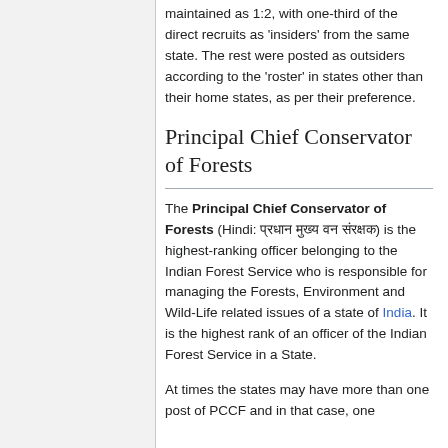maintained as 1:2, with one-third of the direct recruits as 'insiders' from the same state. The rest were posted as outsiders according to the 'roster' in states other than their home states, as per their preference.
Principal Chief Conservator of Forests
The Principal Chief Conservator of Forests (Hindi: प्रधान मुख्य वन संरक्षक) is the highest-ranking officer belonging to the Indian Forest Service who is responsible for managing the Forests, Environment and Wild-Life related issues of a state of India. It is the highest rank of an officer of the Indian Forest Service in a State.
At times the states may have more than one post of PCCF and in that case, one of them is designated as the Head of...